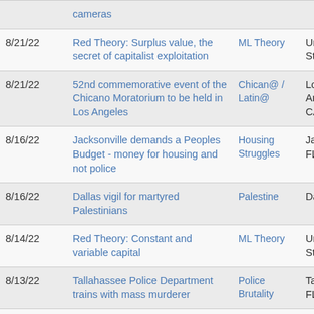| Date | Title | Category | Location |
| --- | --- | --- | --- |
|  | cameras |  |  |
| 8/21/22 | Red Theory: Surplus value, the secret of capitalist exploitation | ML Theory | United States |
| 8/21/22 | 52nd commemorative event of the Chicano Moratorium to be held in Los Angeles | Chican@ / Latin@ | Los Angeles, CA |
| 8/16/22 | Jacksonville demands a Peoples Budget - money for housing and not police | Housing Struggles | Jacksonville, FL |
| 8/16/22 | Dallas vigil for martyred Palestinians | Palestine | Dallas, TX |
| 8/14/22 | Red Theory: Constant and variable capital | ML Theory | United States |
| 8/13/22 | Tallahassee Police Department trains with mass murderer | Police Brutality | Tallahassee, FL |
| 8/13/22 | Minneapolis stands with | Palestine | Minneapolis, |